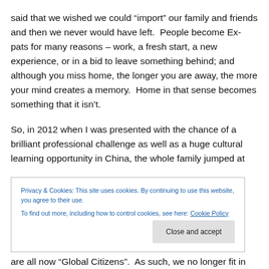said that we wished we could “import” our family and friends and then we never would have left.  People become Ex-pats for many reasons – work, a fresh start, a new experience, or in a bid to leave something behind; and although you miss home, the longer you are away, the more your mind creates a memory.  Home in that sense becomes something that it isn’t.
So, in 2012 when I was presented with the chance of a brilliant professional challenge as well as a huge cultural learning opportunity in China, the whole family jumped at
Privacy & Cookies: This site uses cookies. By continuing to use this website, you agree to their use.
To find out more, including how to control cookies, see here: Cookie Policy
are all now “Global Citizens”.  As such, we no longer fit in